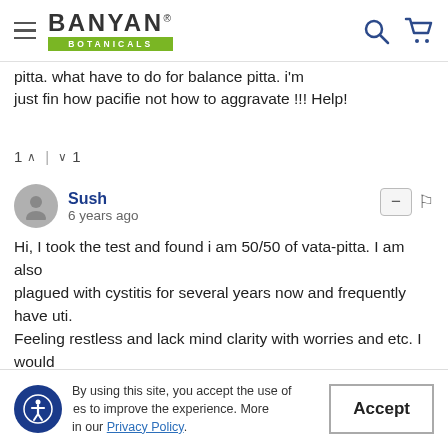Banyan Botanicals
pitta. what have to do for balance pitta. i'm just fin how pacifie not how to aggravate !!! Help!
1 ^ | v 1
Sush
6 years ago
Hi, I took the test and found i am 50/50 of vata-pitta. I am also plagued with cystitis for several years now and frequently have uti. Feeling restless and lack mind clarity with worries and etc. I would like to know to to incorporate both diet together when they seems to against each other. Eg vata pacifying diet is to avoid bitter,
By using this site, you accept the use of cookies to improve the experience. More in our Privacy Policy.